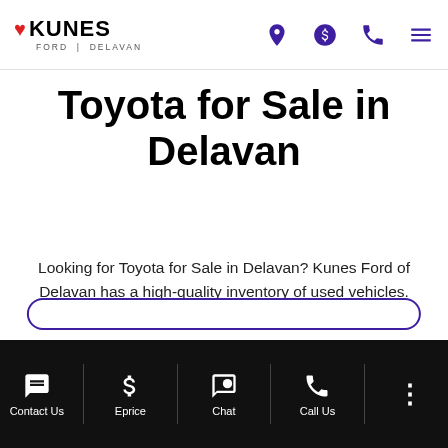Kunes Ford Delavan — header navigation with logo, location, price, phone, and menu icons
Toyota for Sale in Delavan
Looking for Toyota for Sale in Delavan? Kunes Ford of Delavan has a high-quality inventory of used vehicles.
Contact Us | Eprice | Chat | Call Us | More